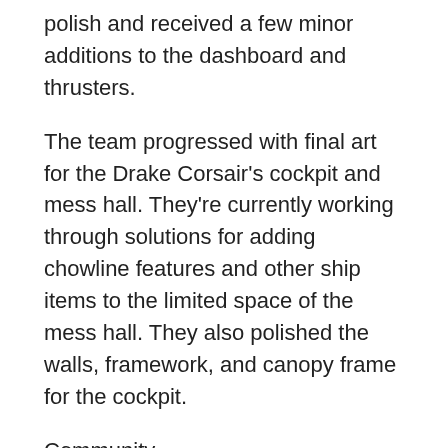polish and received a few minor additions to the dashboard and thrusters.
The team progressed with final art for the Drake Corsair's cockpit and mess hall. They're currently working through solutions for adding chowline features and other ship items to the limited space of the mess hall. They also polished the walls, framework, and canopy frame for the cockpit.
Community
The Community team kicked off the year by announcing the winners of the Manufacturer Season's Greetings, 2951 Luminalia Screenshots, and Payday Videos contests.
They also supported the release of Alpha 3.16.1 with a Patch Watch that offered additional insight into the Derelict Ship puzzles and a CDF infographic for the